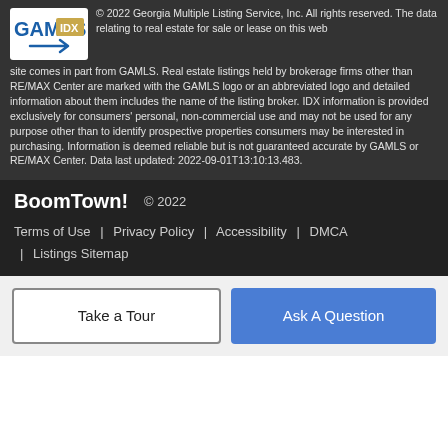[Figure (logo): GAMLS IDX logo — blue GAMLS text with IDX badge and arrow]
© 2022 Georgia Multiple Listing Service, Inc. All rights reserved. The data relating to real estate for sale or lease on this web site comes in part from GAMLS. Real estate listings held by brokerage firms other than RE/MAX Center are marked with the GAMLS logo or an abbreviated logo and detailed information about them includes the name of the listing broker. IDX information is provided exclusively for consumers' personal, non-commercial use and may not be used for any purpose other than to identify prospective properties consumers may be interested in purchasing. Information is deemed reliable but is not guaranteed accurate by GAMLS or RE/MAX Center. Data last updated: 2022-09-01T13:10:13.483.
BoomTown! © 2022
Terms of Use | Privacy Policy | Accessibility | DMCA | Listings Sitemap
Take a Tour
Ask A Question